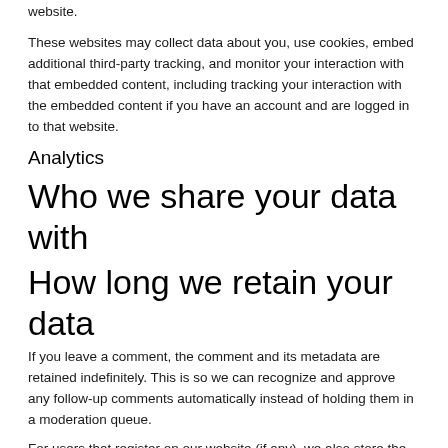website.
These websites may collect data about you, use cookies, embed additional third-party tracking, and monitor your interaction with that embedded content, including tracking your interaction with the embedded content if you have an account and are logged in to that website.
Analytics
Who we share your data with
How long we retain your data
If you leave a comment, the comment and its metadata are retained indefinitely. This is so we can recognize and approve any follow-up comments automatically instead of holding them in a moderation queue.
For users that register on our website (if any), we also store the